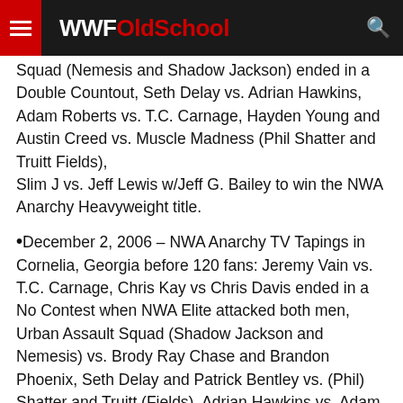WWFOldSchool
Squad (Nemesis and Shadow Jackson) ended in a Double Countout, Seth Delay vs. Adrian Hawkins, Adam Roberts vs. T.C. Carnage, Hayden Young and Austin Creed vs. Muscle Madness (Phil Shatter and Truitt Fields), Slim J vs. Jeff Lewis w/Jeff G. Bailey to win the NWA Anarchy Heavyweight title.
December 2, 2006 – NWA Anarchy TV Tapings in Cornelia, Georgia before 120 fans: Jeremy Vain vs. T.C. Carnage, Chris Kay vs Chris Davis ended in a No Contest when NWA Elite attacked both men, Urban Assault Squad (Shadow Jackson and Nemesis) vs. Brody Ray Chase and Brandon Phoenix, Seth Delay and Patrick Bentley vs. (Phil) Shatter and Truitt (Fields), Adrian Hawkins vs. Adam Roberts by DQ after